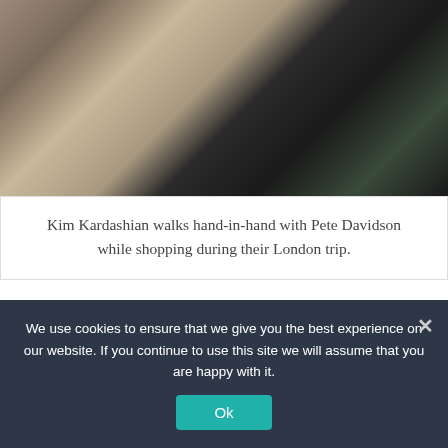[Figure (photo): Photo of Kim Kardashian and Pete Davidson walking hand-in-hand, partially visible figures against dark background]
Kim Kardashian walks hand-in-hand with Pete Davidson while shopping during their London trip.
Comments
التعليقات : 0
فرز حسب الأحدث ∨
We use cookies to ensure that we give you the best experience on our website. If you continue to use this site we will assume that you are happy with it.